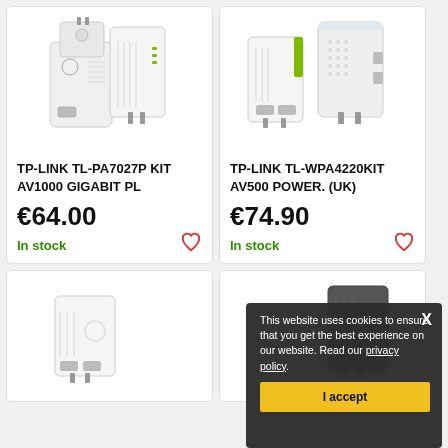[Figure (photo): TP-LINK TL-PA7027P powerline adapter product photo]
TP-LINK TL-PA7027P KIT AV1000 GIGABIT PL
€64.00
In stock
[Figure (photo): TP-LINK TL-WPA4220KIT powerline adapter product photo]
TP-LINK TL-WPA4220KIT AV500 POWER. (UK)
€74.90
In stock
[Figure (photo): Third product photo partially visible]
[Figure (photo): Fourth product photo partially visible]
This website uses cookies to ensure that you get the best experience on our website. Read our privacy policy.
I accept